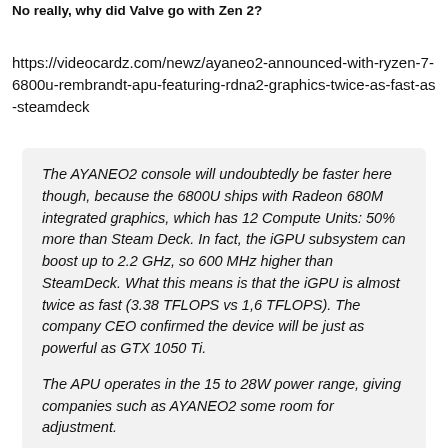No really, why did Valve go with Zen 2?
https://videocardz.com/newz/ayaneo2-announced-with-ryzen-7-6800u-rembrandt-apu-featuring-rdna2-graphics-twice-as-fast-as-steamdeck
The AYANEO2 console will undoubtedly be faster here though, because the 6800U ships with Radeon 680M integrated graphics, which has 12 Compute Units: 50% more than Steam Deck. In fact, the iGPU subsystem can boost up to 2.2 GHz, so 600 MHz higher than SteamDeck. What this means is that the iGPU is almost twice as fast (3.38 TFLOPS vs 1,6 TFLOPS). The company CEO confirmed the device will be just as powerful as GTX 1050 Ti.
The APU operates in the 15 to 28W power range, giving companies such as AYANEO2 some room for adjustment.